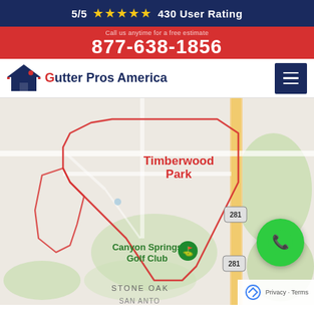5/5 ★★★★★ 430 User Rating
877-638-1856
[Figure (logo): Gutter Pros America logo with house icon]
[Figure (map): Google Maps screenshot showing Timberwood Park area in San Antonio TX, with Canyon Springs Golf Club, Stone Oak neighborhood, Highway 281 marked with red outlined region boundary. Green phone call button overlay in bottom right.]